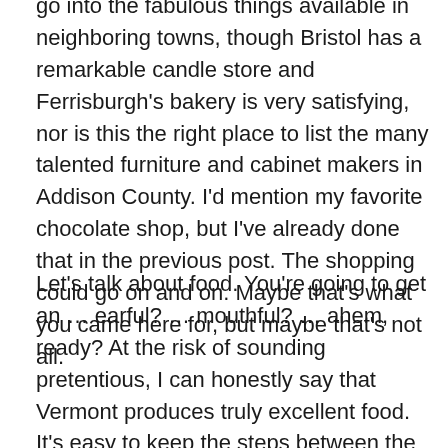go into the fabulous things available in neighboring towns, though Bristol has a remarkable candle store and Ferrisburgh's bakery is very satisfying, nor is this the right place to list the many talented furniture and cabinet makers in Addison County. I'd mention my favorite chocolate shop, but I've already done that in the previous post. The shopping could go on and on. Maybe that's what you came here for, but maybe that's not all.
Let's talk about food. You're going to get an … earful? … mouthful? … ahem, ready? At the risk of sounding pretentious, I can honestly say that Vermont produces truly excellent food. It's easy to keep the steps between the farm and the table to a minimum here. Yes, you can buy farm fresh (unpasteurized or pasteurized) milk, really fresh eggs, homemade cheese and yogurt, garden produce, orchard fruit, gourmet bread, a variety of meats,